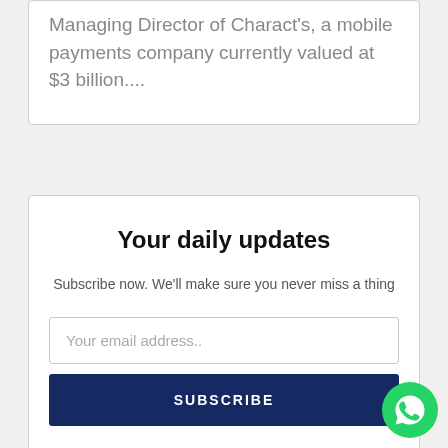Managing Director of Charact's, a mobile payments company currently valued at $3 billion....
Your daily updates
Subscribe now. We'll make sure you never miss a thing
Your email address..
SUBSCRIBE
[Figure (illustration): WhatsApp chat bubble icon, green circle with white phone handset symbol]